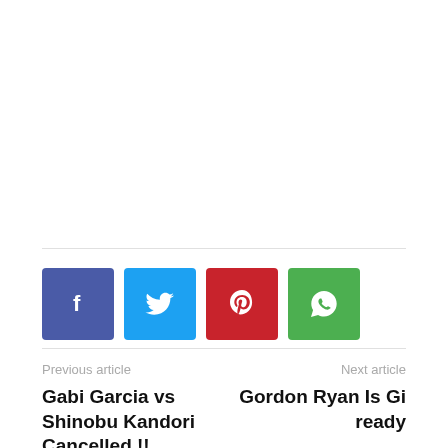[Figure (infographic): Social share buttons: Facebook (blue), Twitter (light blue), Pinterest (red), WhatsApp (green), each with respective icons]
Previous article
Gabi Garcia vs Shinobu Kandori Cancelled !!
Next article
Gordon Ryan Is Gi ready